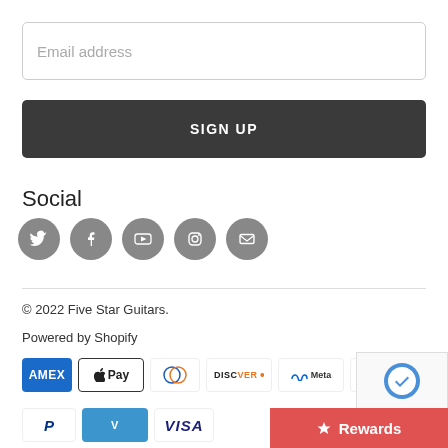Email address
SIGN UP
Social
[Figure (illustration): Five social media icon buttons: Twitter, Facebook, YouTube, Instagram, Email — all grey circles with white icons]
© 2022 Five Star Guitars.
Powered by Shopify
[Figure (illustration): Payment method badges: American Express, Apple Pay, Diners Club, Discover, Meta Pay, Google Pay, Mastercard, PayPal, Venmo, Visa]
[Figure (illustration): reCAPTCHA logo badge in bottom right corner]
Rewards